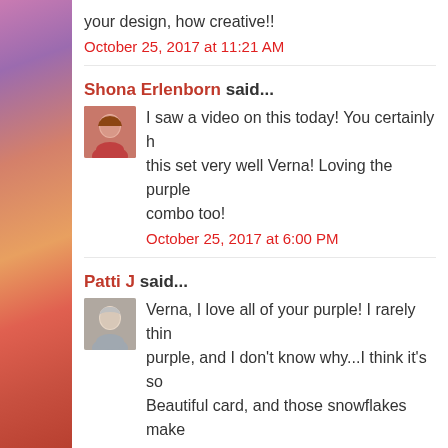your design, how creative!!
October 25, 2017 at 11:21 AM
Shona Erlenborn said...
I saw a video on this today! You certainly h... this set very well Verna! Loving the purple... combo too!
October 25, 2017 at 6:00 PM
Patti J said...
Verna, I love all of your purple! I rarely thin... purple, and I don't know why...I think it's so... Beautiful card, and those snowflakes make...
October 25, 2017 at 6:17 PM